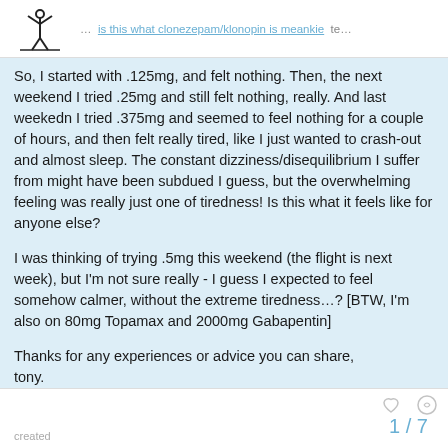is this what clonezepam/klonopin is meankie te...
So, I started with .125mg, and felt nothing. Then, the next weekend I tried .25mg and still felt nothing, really. And last weekedn I tried .375mg and seemed to feel nothing for a couple of hours, and then felt really tired, like I just wanted to crash-out and almost sleep. The constant dizziness/disequilibrium I suffer from might have been subdued I guess, but the overwhelming feeling was really just one of tiredness! Is this what it feels like for anyone else?

I was thinking of trying .5mg this weekend (the flight is next week), but I'm not sure really - I guess I expected to feel somehow calmer, without the extreme tiredness…? [BTW, I'm also on 80mg Topamax and 2000mg Gabapentin]

Thanks for any experiences or advice you can share,
tony.
1 / 7